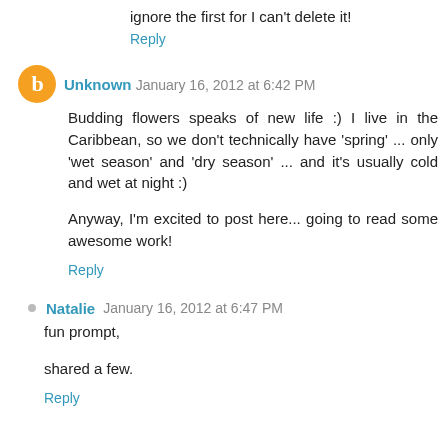ignore the first for I can't delete it!
Reply
Unknown  January 16, 2012 at 6:42 PM
Budding flowers speaks of new life :) I live in the Caribbean, so we don't technically have 'spring' ... only 'wet season' and 'dry season' ... and it's usually cold and wet at night :)
Anyway, I'm excited to post here... going to read some awesome work!
Reply
Natalie  January 16, 2012 at 6:47 PM
fun prompt,
shared a few.
Reply